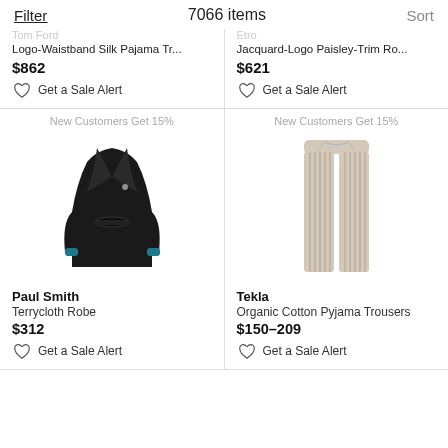Filter   7066 items   Sort
Tom Ford
Logo-Waistband Silk Pajama Tr...
$862
Get a Sale Alert
Etro
Jacquard-Logo Paisley-Trim Ro...
$621
Get a Sale Alert
New Customers Get 15%
[Figure (photo): Black terrycloth robe by Paul Smith with teal cuff detail]
New Customers Get 15%
[Figure (photo): Beige/white striped organic cotton pyjama trousers by Tekla]
Paul Smith
Terrycloth Robe
$312
Get a Sale Alert
Tekla
Organic Cotton Pyjama Trousers
$150–209
Get a Sale Alert